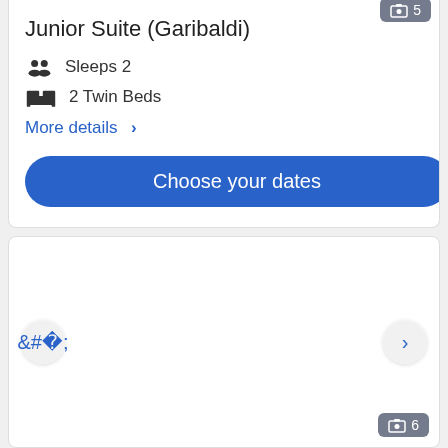[Figure (screenshot): Image badge showing '5' with a photo icon in the top-right corner of the top card]
Junior Suite (Garibaldi)
Sleeps 2
2 Twin Beds
More details >
Choose your dates
[Figure (photo): Hotel room image carousel with broken image placeholder, left and right navigation arrows, and image badge showing '6']